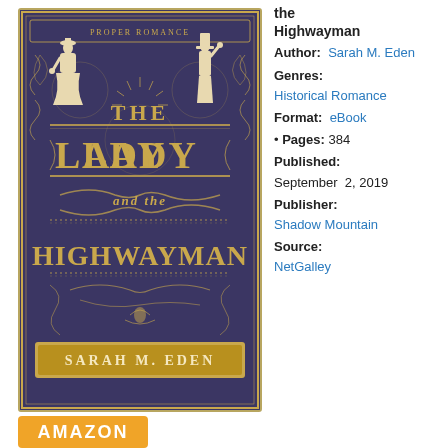[Figure (illustration): Book cover for 'The Lady and the Highwayman' by Sarah M. Eden, Proper Romance series. Dark purple/navy background with gold ornamental designs, silhouettes of a lady and a gentleman, gold decorative title text reading THE LADY and the HIGHWAYMAN, and author name SARAH M. EDEN at the bottom in a gold bar.]
the Highwayman
Author: Sarah M. Eden
Genres: Historical Romance
Format: eBook
• Pages: 384
Published: September 2, 2019
Publisher: Shadow Mountain
Source: NetGalley
[Figure (other): Amazon button - orange rectangle with white bold text reading AMAZON]